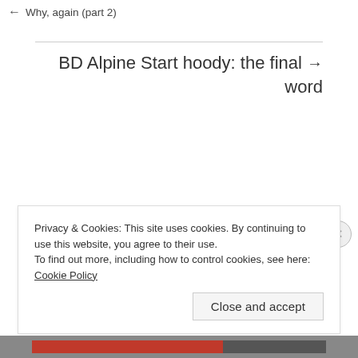← Why, again (part 2)
BD Alpine Start hoody: the final word →
Privacy & Cookies: This site uses cookies. By continuing to use this website, you agree to their use.
To find out more, including how to control cookies, see here: Cookie Policy
Close and accept